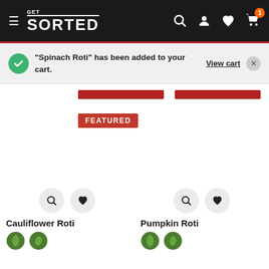GET SORTED — navigation header with hamburger menu, search, account, wishlist, and cart (1 item)
"Spinach Roti" has been added to your cart.
View cart
FEATURED
Cauliflower Roti
Pumpkin Roti